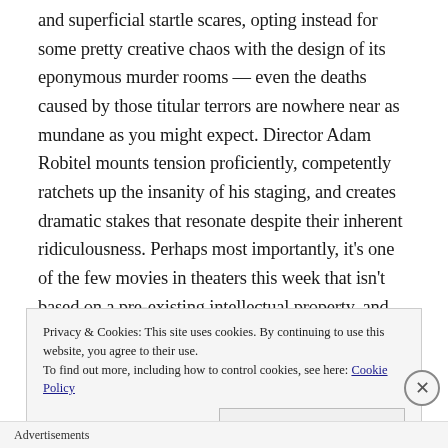and superficial startle scares, opting instead for some pretty creative chaos with the design of its eponymous murder rooms — even the deaths caused by those titular terrors are nowhere near as mundane as you might expect. Director Adam Robitel mounts tension proficiently, competently ratchets up the insanity of his staging, and creates dramatic stakes that resonate despite their inherent ridiculousness. Perhaps most importantly, it's one of the few movies in theaters this week that isn't based on a pre-existing intellectual property, and that originality comes as a welcome respite in and of itself.
Privacy & Cookies: This site uses cookies. By continuing to use this website, you agree to their use.
To find out more, including how to control cookies, see here: Cookie Policy
Advertisements